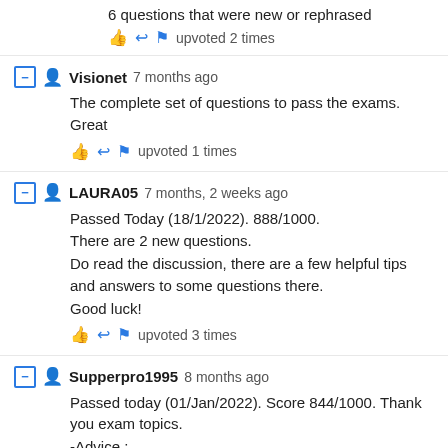6 questions that were new or rephrased
upvoted 2 times
Visionet 7 months ago
The complete set of questions to pass the exams. Great
upvoted 1 times
LAURA05 7 months, 2 weeks ago
Passed Today (18/1/2022). 888/1000.
There are 2 new questions.
Do read the discussion, there are a few helpful tips and answers to some questions there.
Good luck!
upvoted 3 times
Supperpro1995 8 months ago
Passed today (01/Jan/2022). Score 844/1000. Thank you exam topics.
-Advice :
Total : 38 questions with 60 minutes. I took about 30 minutes to complete this exam MB-920.
30 questions in this dump, 8 questions is new.
70%-80% questions from here, 20%-30% is new questions. Please practice by yourself. Please read all the